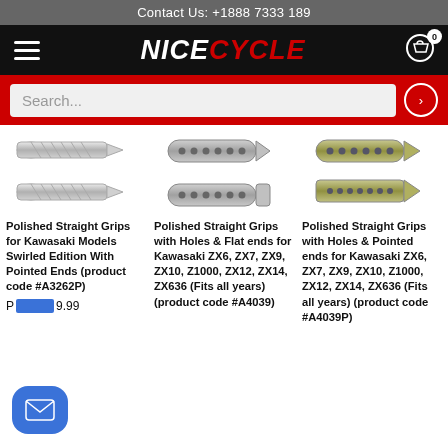Contact Us: +1888 7333 189
[Figure (logo): NICECYCLE logo with navigation bar, hamburger menu, and cart icon showing 0 items]
[Figure (screenshot): Search bar with placeholder text 'Search...' on red background]
[Figure (photo): Product image: Polished Straight Grips for Kawasaki - Swirled Edition with Pointed Ends]
Polished Straight Grips for Kawasaki Models Swirled Edition With Pointed Ends (product code #A3262P)
P...9.99
[Figure (photo): Product image: Polished Straight Grips with Holes & Flat ends for Kawasaki]
Polished Straight Grips with Holes & Flat ends for Kawasaki ZX6, ZX7, ZX9, ZX10, Z1000, ZX12, ZX14, ZX636 (Fits all years) (product code #A4039)
[Figure (photo): Product image: Polished Straight Grips with Holes & Pointed ends for Kawasaki]
Polished Straight Grips with Holes & Pointed ends for Kawasaki ZX6, ZX7, ZX9, ZX10, Z1000, ZX12, ZX14, ZX636 (Fits all years) (product code #A4039P)